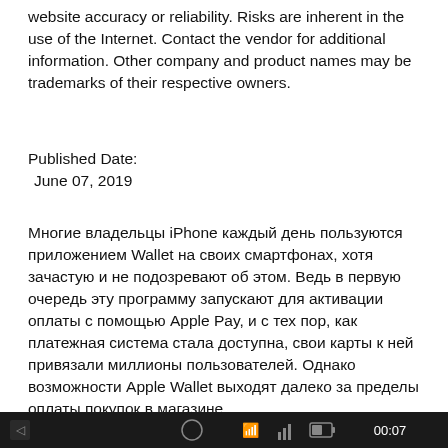website accuracy or reliability. Risks are inherent in the use of the Internet. Contact the vendor for additional information. Other company and product names may be trademarks of their respective owners.
Published Date:
 June 07, 2019
Многие владельцы iPhone каждый день пользуются приложением Wallet на своих смартфонах, хотя зачастую и не подозревают об этом. Ведь в первую очередь эту программу запускают для активации оплаты с помощью Apple Pay, и с тех пор, как платежная система стала доступна, свои карты к ней привязали миллионы пользователей. Однако возможности Apple Wallet выходят далеко за пределы оплаты покупок в магазине.
[Figure (screenshot): Dark status bar at the bottom of a mobile device screen showing time 00:07 and icons]